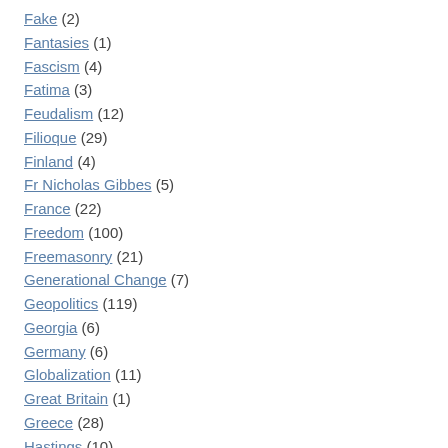Fake (2)
Fantasies (1)
Fascism (4)
Fatima (3)
Feudalism (12)
Filioque (29)
Finland (4)
Fr Nicholas Gibbes (5)
France (22)
Freedom (100)
Freemasonry (21)
Generational Change (7)
Geopolitics (119)
Georgia (6)
Germany (6)
Globalization (11)
Great Britain (1)
Greece (28)
Hastings (10)